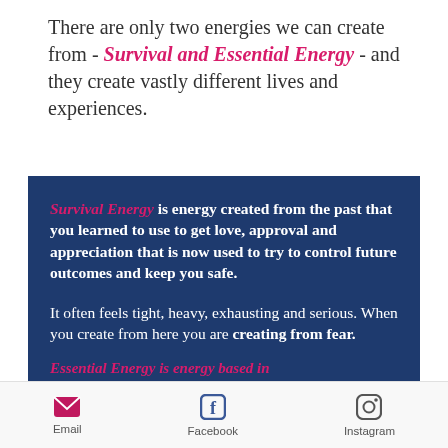There are only two energies we can create from - Survival and Essential Energy - and they create vastly different lives and experiences.
Survival Energy is energy created from the past that you learned to use to get love, approval and appreciation that is now used to try to control future outcomes and keep you safe.

It often feels tight, heavy, exhausting and serious. When you create from here you are creating from fear.

Essential Energy is energy based in
Email   Facebook   Instagram